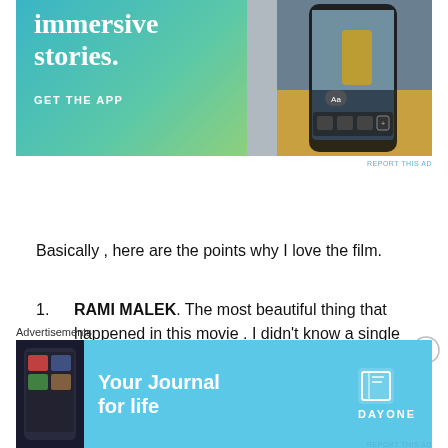[Figure (screenshot): App advertisement banner with blue-green gradient background, text 'immersive stories.' and 'GET THE APP', with a phone mockup showing a waterfall image on the right side.]
REPORT THIS AD
Basically , here are the points why I love the film.
RAMI MALEK. The most beautiful thing that happened in this movie . I didn't know a single thing about this actor before. The whole movie I kept wondering who is he.
Advertisements
[Figure (screenshot): Bottom advertisement for 'Day One' app - Your Journal for life, with blue background, phone image on left and book icon logo on right.]
REPORT THIS AD